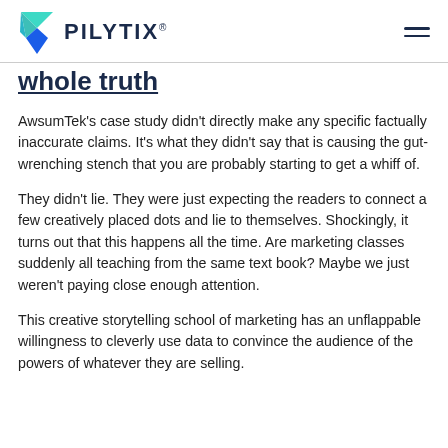PILYTIX®
whole truth
AwsumTek's case study didn't directly make any specific factually inaccurate claims. It's what they didn't say that is causing the gut-wrenching stench that you are probably starting to get a whiff of.
They didn't lie. They were just expecting the readers to connect a few creatively placed dots and lie to themselves. Shockingly, it turns out that this happens all the time. Are marketing classes suddenly all teaching from the same text book? Maybe we just weren't paying close enough attention.
This creative storytelling school of marketing has an unflappable willingness to cleverly use data to convince the audience of the powers of whatever they are selling.